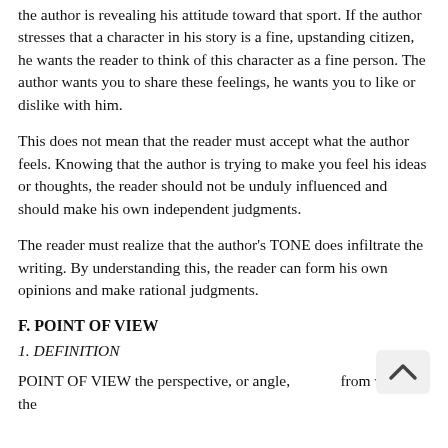the author is revealing his attitude toward that sport. If the author stresses that a character in his story is a fine, upstanding citizen, he wants the reader to think of this character as a fine person. The author wants you to share these feelings, he wants you to like or dislike with him.
This does not mean that the reader must accept what the author feels. Knowing that the author is trying to make you feel his ideas or thoughts, the reader should not be unduly influenced and should make his own independent judgments.
The reader must realize that the author's TONE does infiltrate the writing. By understanding this, the reader can form his own opinions and make rational judgments.
F. POINT OF VIEW
1. DEFINITION
POINT OF VIEW the perspective, or angle, from which the